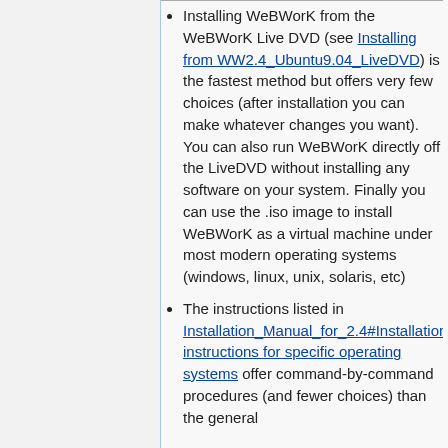Installing WeBWorK from the WeBWorK Live DVD (see Installing from WW2.4_Ubuntu9.04_LiveDVD) is the fastest method but offers very few choices (after installation you can make whatever changes you want). You can also run WeBWorK directly off the LiveDVD without installing any software on your system. Finally you can use the .iso image to install WeBWorK as a virtual machine under most modern operating systems (windows, linux, unix, solaris, etc)
The instructions listed in Installation_Manual_for_2.4#Installation instructions for specific operating systems offer command-by-command procedures (and fewer choices) than the general